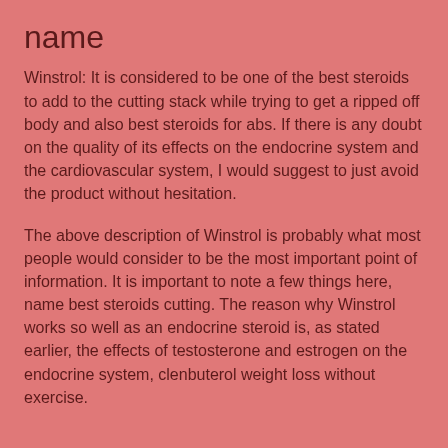name
Winstrol: It is considered to be one of the best steroids to add to the cutting stack while trying to get a ripped off body and also best steroids for abs. If there is any doubt on the quality of its effects on the endocrine system and the cardiovascular system, I would suggest to just avoid the product without hesitation.
The above description of Winstrol is probably what most people would consider to be the most important point of information. It is important to note a few things here, name best steroids cutting. The reason why Winstrol works so well as an endocrine steroid is, as stated earlier, the effects of testosterone and estrogen on the endocrine system, clenbuterol weight loss without exercise.